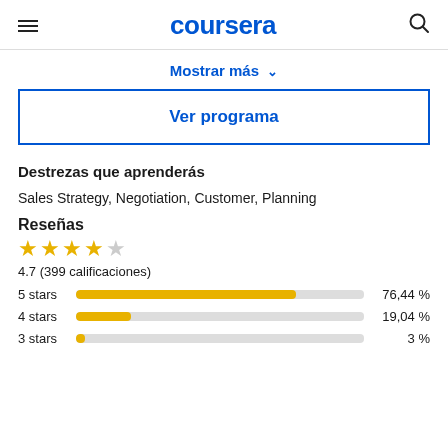coursera
Mostrar más
Ver programa
Destrezas que aprenderás
Sales Strategy, Negotiation, Customer, Planning
Reseñas
4.7 (399 calificaciones)
[Figure (bar-chart): Rating distribution]